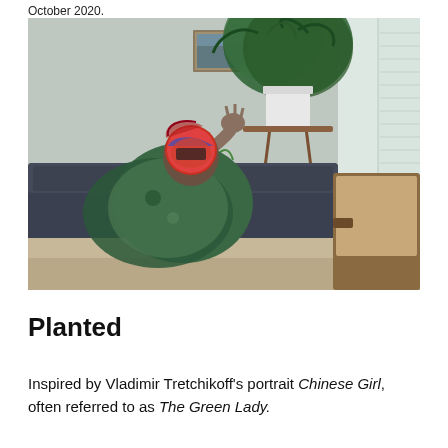October 2020.
[Figure (photo): A person wearing a colorful patterned mask/headwrap, draped in a green and patterned shawl, seated on a dark couch in a domestic interior. There are houseplants, a painting on the wall, venetian blinds, and a wooden armchair to the right.]
Planted
Inspired by Vladimir Tretchikoff's portrait Chinese Girl, often referred to as The Green Lady.